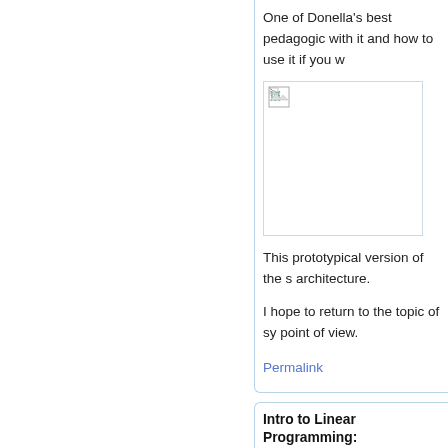One of Donella's best pedagogic... with it and how to use it if you w...
[Figure (photo): Broken image placeholder in a bordered box]
This prototypical version of the s... architecture.
I hope to return to the topic of sy... point of view.
Permalink
Intro to Linear Programming:
Posted on September 25, 2013 @ 10:28:
Today I want to begin introduc...